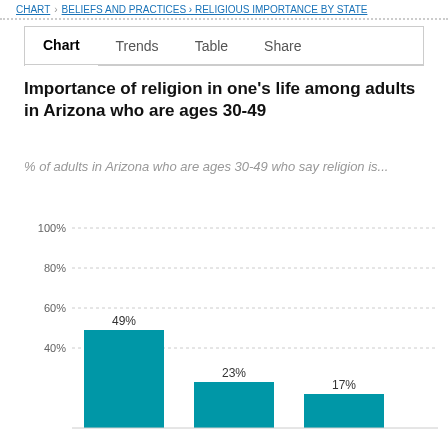CHART  BELIEFS AND PRACTICES  RELIGIOUS IMPORTANCE BY STATE
Chart   Trends   Table   Share
Importance of religion in one's life among adults in Arizona who are ages 30-49
% of adults in Arizona who are ages 30-49 who say religion is...
[Figure (bar-chart): Importance of religion in one's life among adults in Arizona who are ages 30-49]